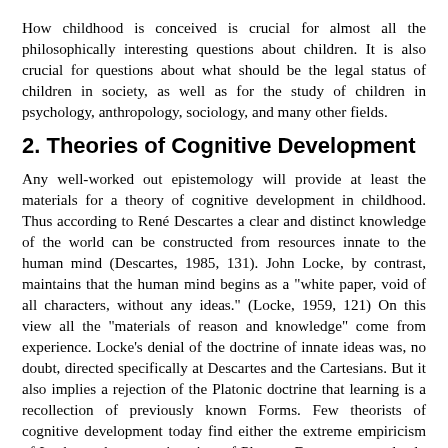How childhood is conceived is crucial for almost all the philosophically interesting questions about children. It is also crucial for questions about what should be the legal status of children in society, as well as for the study of children in psychology, anthropology, sociology, and many other fields.
2. Theories of Cognitive Development
Any well-worked out epistemology will provide at least the materials for a theory of cognitive development in childhood. Thus according to René Descartes a clear and distinct knowledge of the world can be constructed from resources innate to the human mind (Descartes, 1985, 131). John Locke, by contrast, maintains that the human mind begins as a "white paper, void of all characters, without any ideas." (Locke, 1959, 121) On this view all the "materials of reason and knowledge" come from experience. Locke's denial of the doctrine of innate ideas was, no doubt, directed specifically at Descartes and the Cartesians. But it also implies a rejection of the Platonic doctrine that learning is a recollection of previously known Forms. Few theorists of cognitive development today find either the extreme empiricism of Locke or the strong innatism of Plato or Descartes completely acceptable.
Behaviroism has offered recent theorists of cognitive development